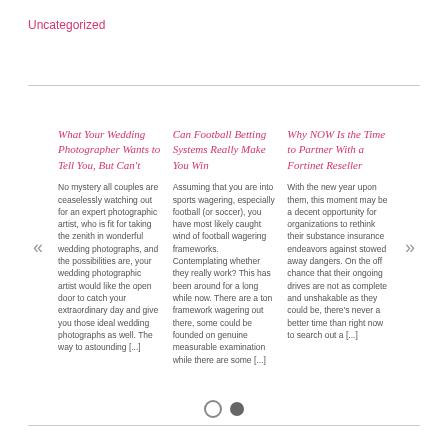Uncategorized
What Your Wedding Photographer Wants to Tell You, But Can't
No mystery all couples are ceaselessly watching out for an expert photographic artist, who is fit for taking the zenith in wonderful wedding photographs, and the possibilities are, your wedding photographic artist would like the open door to catch your extraordinary day and give you those ideal wedding photographs as well. The way to astounding [...]
Can Football Betting Systems Really Make You Win
Assuming that you are into sports wagering, especially football (or soccer), you have most likely caught wind of football wagering frameworks. Contemplating whether they really work? This has been around for a long while now. There are a ton framework wagering out there, some could be founded on genuine measurable examination while there are some [...]
Why NOW Is the Time to Partner With a Fortinet Reseller
With the new year upon them, this moment may be a decent opportunity for organizations to rethink their substance insurance endeavors against stowed away dangers. On the off chance that their ongoing drives are not as complete and unshakable as they could be, there's never a better time than right now to search out a [...]